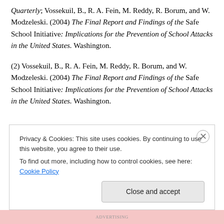Quarterly; Vossekuil, B., R. A. Fein, M. Reddy, R. Borum, and W. Modzeleski. (2004) The Final Report and Findings of the Safe School Initiative: Implications for the Prevention of School Attacks in the United States. Washington.
(2) Vossekuil, B., R. A. Fein, M. Reddy, R. Borum, and W. Modzeleski. (2004) The Final Report and Findings of the Safe School Initiative: Implications for the Prevention of School Attacks in the United States. Washington.
Privacy & Cookies: This site uses cookies. By continuing to use this website, you agree to their use. To find out more, including how to control cookies, see here: Cookie Policy